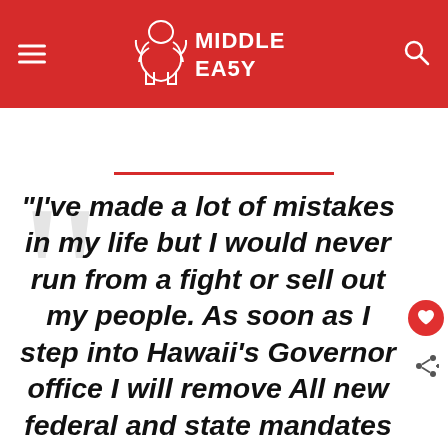MIDDLE EASY
“I’ve made a lot of mistakes in my life but I would never run from a fight or sell out my people. As soon as I step into Hawaii’s Governor office I will remove All new federal and state mandates